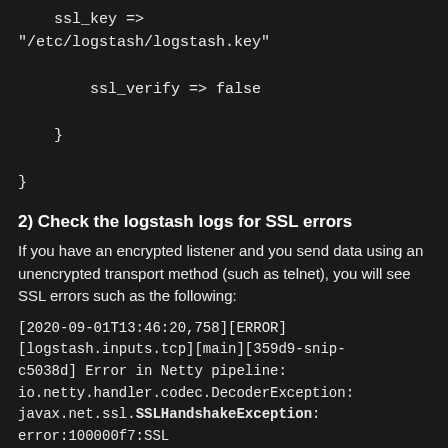ssl_key =>
"/etc/logstash/logstash.key"

        ssl_verify => false

    }

}
2) Check the logstash logs for SSL errors
If you have an encrypted listener and you send data using an unencrypted transport method (such as telnet), you will see SSL errors such as the following:
[2020-09-01T13:46:20,758][ERROR][logstash.inputs.tcp][main][359d9-snip-c5038d] Error in Netty pipeline: io.netty.handler.codec.DecoderException: javax.net.ssl.SSLHandshakeException: error:100000f7:SSL